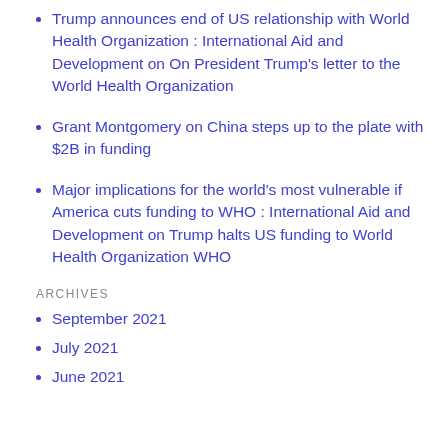Trump announces end of US relationship with World Health Organization : International Aid and Development on On President Trump's letter to the World Health Organization
Grant Montgomery on China steps up to the plate with $2B in funding
Major implications for the world's most vulnerable if America cuts funding to WHO : International Aid and Development on Trump halts US funding to World Health Organization WHO
ARCHIVES
September 2021
July 2021
June 2021